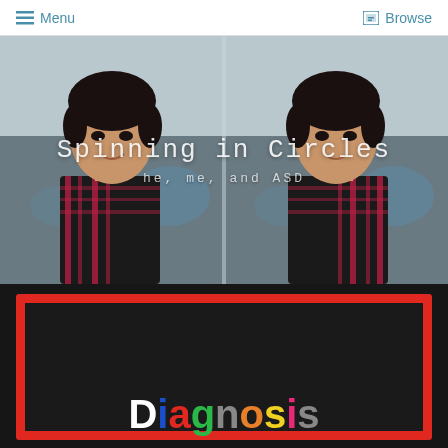≡ Menu    ⊡ Browse
[Figure (photo): Blog header image showing a young boy in a red plaid shirt, mirrored/duplicated side by side, with dark hair, looking slightly to the side. Text overlay reads 'Spinning in Circles' and 'he, me, and ASD'.]
Spinning in Circles
he, me, and ASD
[Figure (photo): Photo of a black chalkboard with a red rectangular frame/border. Colorful magnetic letters spell out 'Diagnosis' along the bottom, with letters in white, red, blue, orange, green, yellow, purple, and pink.]